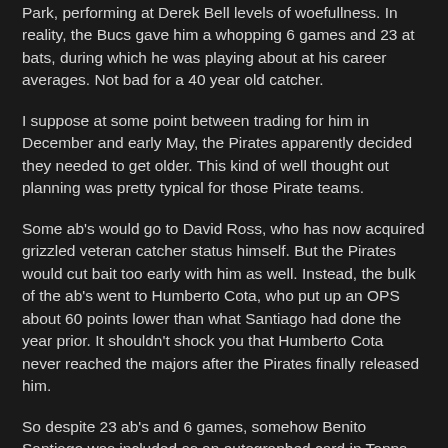Park, performing at Derek Bell levels of woefullness. In reality, the Bucs gave him a whopping 6 games and 23 at bats, during which he was playing about at his career averages. Not bad for a 40 year old catcher.
I suppose at some point between trading for him in December and early May, the Pirates apparently decided they needed to get older. This kind of well thought out planning was pretty typical for those Pirate teams.
Some ab's would go to David Ross, who has now acquired grizzled veteran catcher status himself. But the Pirates would cut bait too early with him as well. Instead, the bulk of the ab's went to Humberto Cota, who put up an OPS about 60 points lower than what Santiago had done the year prior. It shouldn't shock you that Humberto Cota never reached the majors after the Pirates finally released him.
So despite 23 ab's and 6 games, somehow Benito Santiago was included as an autographed card in Topps Update, despite never actually having a flagship Topps card as a Pirate. And having not played for either team pictured for at least 2 months...